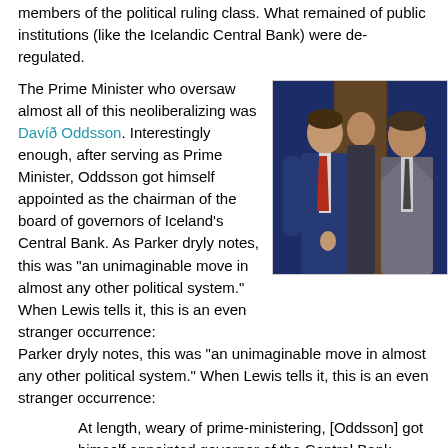members of the political ruling class. What remained of public institutions (like the Icelandic Central Bank) were de-regulated.
The Prime Minister who oversaw almost all of this neoliberalizing was Davíð Oddsson. Interestingly enough, after serving as Prime Minister, Oddsson got himself appointed as the chairman of the board of governors of Iceland's Central Bank. As Parker dryly notes, this was "an unimaginable move in almost any other political system." When Lewis tells it, this is an even stranger occurrence:
[Figure (photo): A photograph of three men in suits standing together, likely at a formal event. Background is dark blue. The man on the left wears a blue suit with a red tie, the man in the middle appears partially visible, and the man on the right wears a grey suit.]
At length, weary of prime-ministering, [Oddsson] got himself appointed governor of the Central Bank—even though he was a poet without banking experience.
After the collapse he holed up in his office inside